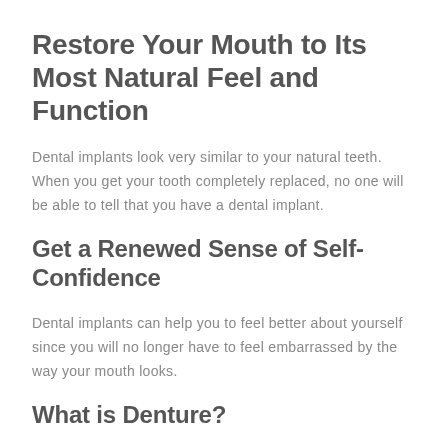Restore Your Mouth to Its Most Natural Feel and Function
Dental implants look very similar to your natural teeth. When you get your tooth completely replaced, no one will be able to tell that you have a dental implant.
Get a Renewed Sense of Self-Confidence
Dental implants can help you to feel better about yourself since you will no longer have to feel embarrassed by the way your mouth looks.
What is Denture?
If you're missing teeth, your dentist may recommend a removable replacement known as a denture. Dentures are custom artificial teeth and gums that your dentist will specifically design to fit your